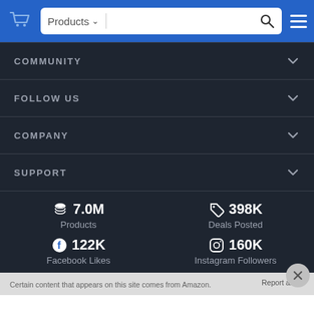Products ▾ [search bar] [hamburger]
COMMUNITY
FOLLOW US
COMPANY
SUPPORT
7.0M Products
398K Deals Posted
122K Facebook Likes
160K Instagram Followers
Certain content that appears on this site comes from Amazon. Report an ad